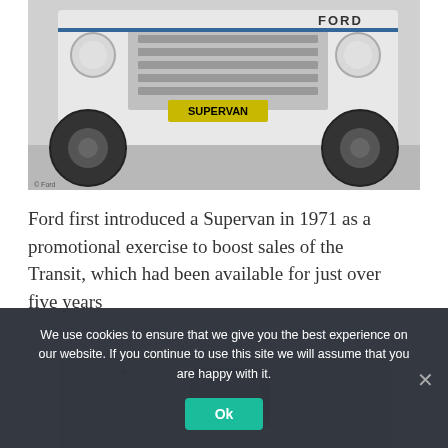[Figure (photo): Black and white photo of a Ford Supervan vehicle from the front, showing large rear tires, 'SUPERVAN' license plate, and 'FORD' lettering on the side. Photo credit: © Ford]
Ford first introduced a Supervan in 1971 as a promotional exercise to boost sales of the Transit, which had been available for just over five years
[Figure (photo): Partial view of what appears to be a vehicle interior or detail, partially cut off at bottom of page.]
We use cookies to ensure that we give you the best experience on our website. If you continue to use this site we will assume that you are happy with it.